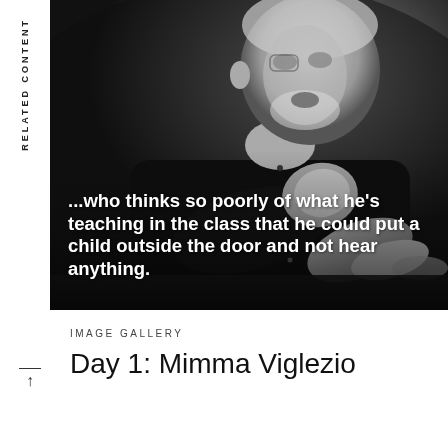RELATED CONTENT
[Figure (photo): Black and white photograph of an elderly man in a dark shirt, gesturing with his hand on a table surface, shot from a slight angle with dramatic lighting]
...who thinks so poorly of what he's teaching in the class that he could put a child outside the door and not hear anything.
IMAGE GALLERY
Day 1: Mimma Viglezio